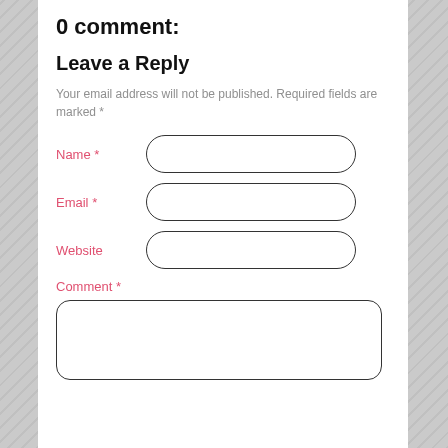0 comment:
Leave a Reply
Your email address will not be published. Required fields are marked *
Name *
Email *
Website
Comment *